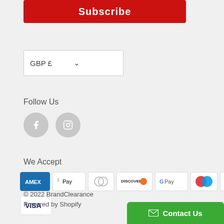[Figure (other): Red Subscribe button]
[Figure (other): GBP £ currency dropdown selector]
Follow Us
[Figure (other): Facebook and Instagram social media icon circles]
We Accept
[Figure (other): Payment method icons: AMEX, Apple Pay, Diners Club, Discover, Google Pay, Maestro, Mastercard, PayPal, Shop Pay, Visa]
© 2022 BrandClearance
Powered by Shopify
[Figure (other): Green Contact Us button with envelope icon]